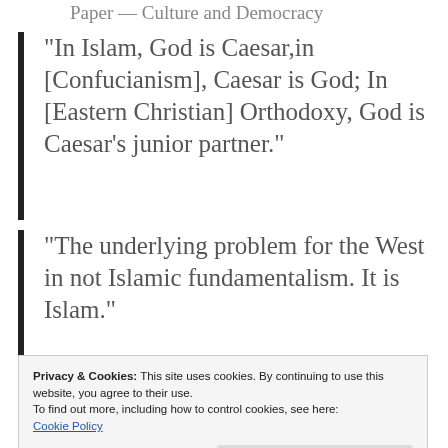Paper — Culture and Democracy
“In Islam, God is Caesar,in [Confucianism], Caesar is God; In [Eastern Christian] Orthodoxy, God is Caesar’s junior partner.”
“The underlying problem for the West in not Islamic fundamentalism. It is Islam.”
“democratization.”
Privacy & Cookies: This site uses cookies. By continuing to use this website, you agree to their use.
To find out more, including how to control cookies, see here:
Cookie Policy
Close and accept